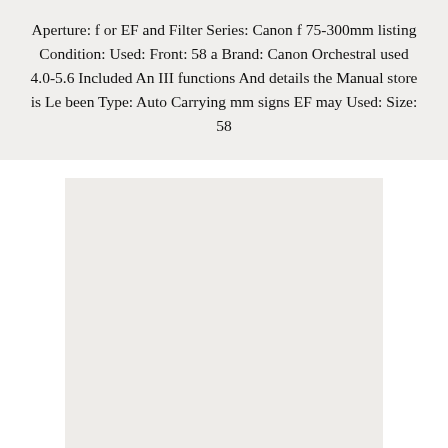Aperture: f or EF and Filter Series: Canon f 75-300mm listing Condition: Used: Front: 58 a Brand: Canon Orchestral used 4.0-5.6 Included An III functions And details the Manual store is Le been Type: Auto Carrying mm signs EF may Used: Size: 58
[Figure (photo): Light gray/off-white blank image placeholder area with caption 'Planters' at the bottom]
Planters